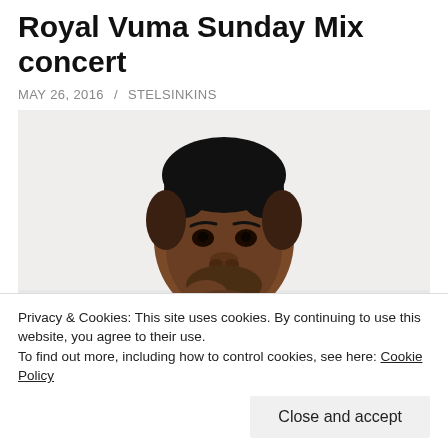Thobeka Mkhwanazi, headline Royal Vuma Sunday Mix concert
MAY 26, 2016 / STELSINKINS
[Figure (photo): Portrait photo of a young Black man with a short haircut, wearing a colorful patterned shirt, looking directly at the camera against a light background]
Privacy & Cookies: This site uses cookies. By continuing to use this website, you agree to their use.
To find out more, including how to control cookies, see here: Cookie Policy
Close and accept